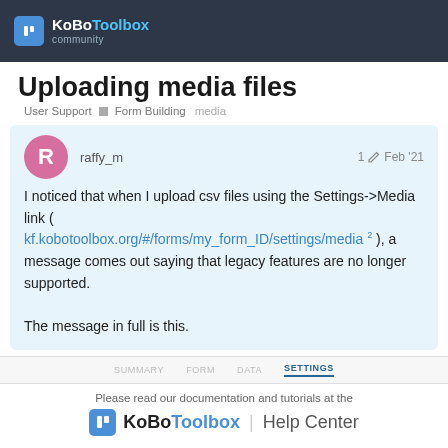KoBoToolbox community
Uploading media files
User Support  Form Building  media
raffy_m  1  Feb '21

I noticed that when I upload csv files using the Settings->Media link ( kf.kobotoolbox.org/#/forms/my_form_ID/settings/media 2 ), a message comes out saying that legacy features are no longer supported.

The message in full is this.
[Figure (screenshot): Navigation tab bar showing SUMMARY, FORM, DATA, SETTINGS tabs with SETTINGS active]
Please read our documentation and tutorials at the KoBoToolbox | Help Center